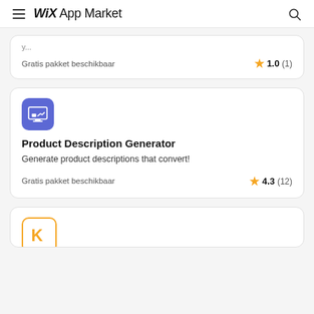WiX App Market
Gratis pakket beschikbaar
1.0 (1)
Product Description Generator
Generate product descriptions that convert!
Gratis pakket beschikbaar
4.3 (12)